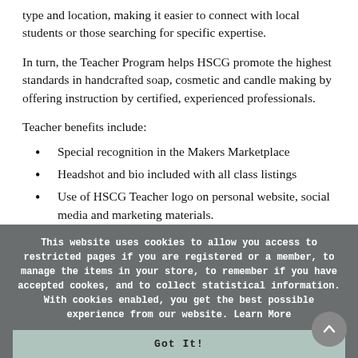type and location, making it easier to connect with local students or those searching for specific expertise.
In turn, the Teacher Program helps HSCG promote the highest standards in handcrafted soap, cosmetic and candle making by offering instruction by certified, experienced professionals.
Teacher benefits include:
Special recognition in the Makers Marketplace
Headshot and bio included with all class listings
Use of HSCG Teacher logo on personal website, social media and marketing materials.
This website uses cookies to allow you access to restricted pages if you are registered or a member, to manage the items in your store, to remember if you have accepted cookes, and to collect statistical information. With cookies enabled, you get the best possible experience from our website. Learn More
Got It!